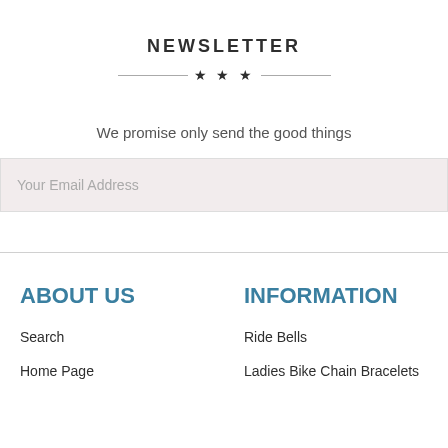NEWSLETTER
We promise only send the good things
Your Email Address
ABOUT US
INFORMATION
Search
Ride Bells
Home Page
Ladies Bike Chain Bracelets